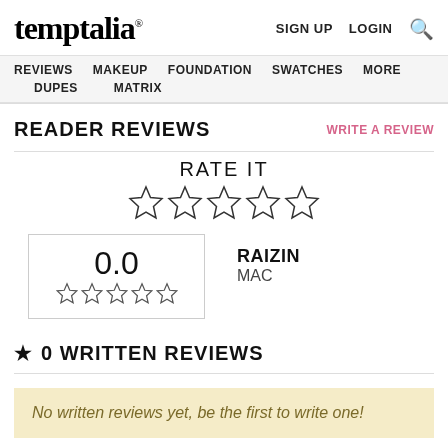temptalia® | SIGN UP  LOGIN  🔍
REVIEWS  MAKEUP  FOUNDATION  SWATCHES  MORE  DUPES  MATRIX
READER REVIEWS
WRITE A REVIEW
RATE IT
0.0
RAIZIN
MAC
★ 0 WRITTEN REVIEWS
No written reviews yet, be the first to write one!
Share your Review!